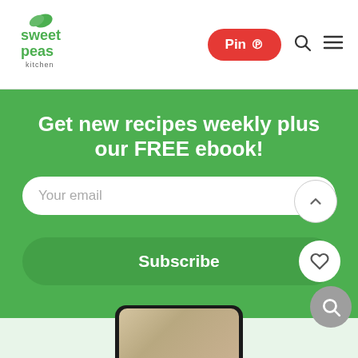[Figure (logo): Sweet Peas Kitchen logo with green leaf icon and text]
Pin ♡
Get new recipes weekly plus our FREE ebook!
Your email
Subscribe
[Figure (screenshot): Phone preview showing recipe image at bottom of page]